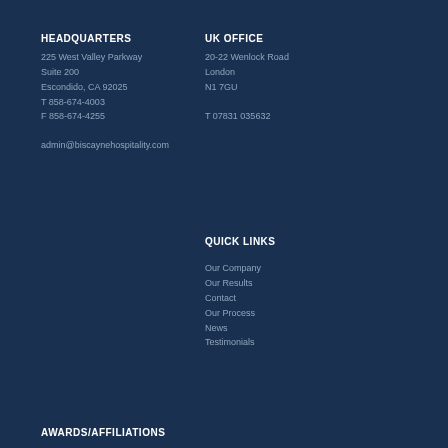HEADQUARTERS
225 West Valley Parkway
Suite 200
Escondido, CA 92025
T 858-674-4003
F 858-674-4255
admin@biscaynehospitality.com
UK OFFICE
20-22 Wenlock Road
London
N1 7GU

T 07831 035632
QUICK LINKS
Our Company
Our Results
Contact
Our Process
News
Testimonials
AWARDS/AFFILIATIONS